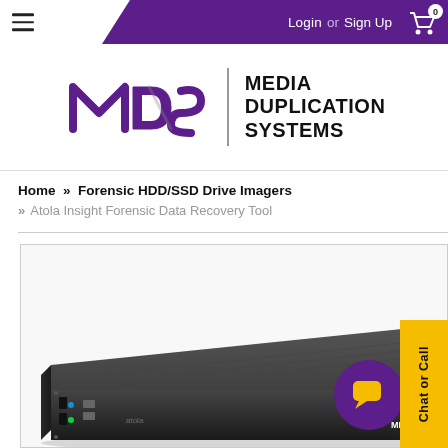Login or Sign Up  [cart: 0]
[Figure (logo): MDS Media Duplication Systems logo with purple stylized MDS letters and vertical bar separator]
Home » Forensic HDD/SSD Drive Imagers
» Atola Insight Forensic Data Recovery Tool
[Figure (photo): Atola Insight Forensic Data Recovery Tool device — a dark grey rack-mount hardware unit with MDS branding, front ports visible]
[Figure (other): Chat or Call floating widget with yellow background and purple chat bubble circle icon]